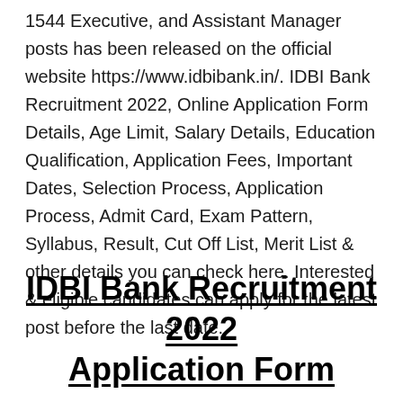1544 Executive, and Assistant Manager posts has been released on the official website https://www.idbibank.in/. IDBI Bank Recruitment 2022, Online Application Form Details, Age Limit, Salary Details, Education Qualification, Application Fees, Important Dates, Selection Process, Application Process, Admit Card, Exam Pattern, Syllabus, Result, Cut Off List, Merit List & other details you can check here. Interested & eligible candidates can apply for the latest post before the last date.
IDBI Bank Recruitment 2022 Application Form